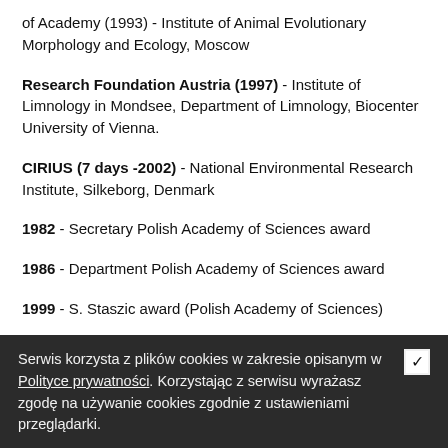of Academy (1993) - Institute of Animal Evolutionary Morphology and Ecology, Moscow
Research Foundation Austria (1997) - Institute of Limnology in Mondsee, Department of Limnology, Biocenter University of Vienna.
CIRIUS (7 days -2002) - National Environmental Research Institute, Silkeborg, Denmark
1982 - Secretary Polish Academy of Sciences award
1986 - Department Polish Academy of Sciences award
1999 - S. Staszic award (Polish Academy of Sciences)
2000 - Award for the best DSc. work (Włocławek Sciences Society)
2000 - ARCHEO - prize-winner of The Foundation for Polish Science
Serwis korzysta z plików cookies w zakresie opisanym w Polityce prywatności. Korzystając z serwisu wyrażasz zgodę na używanie cookies zgodnie z ustawieniami przeglądarki.